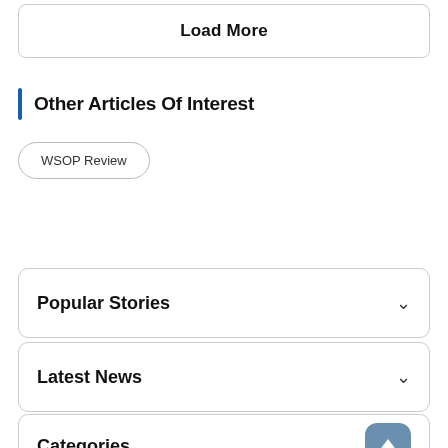Load More
Other Articles Of Interest
WSOP Review
Popular Stories
Latest News
Categories